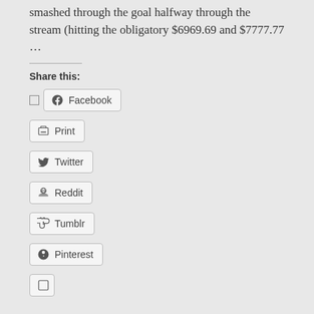smashed through the goal halfway through the stream (hitting the obligatory $6969.69 and $7777.77 …
Share this:
Facebook
Print
Twitter
Reddit
Tumblr
Pinterest